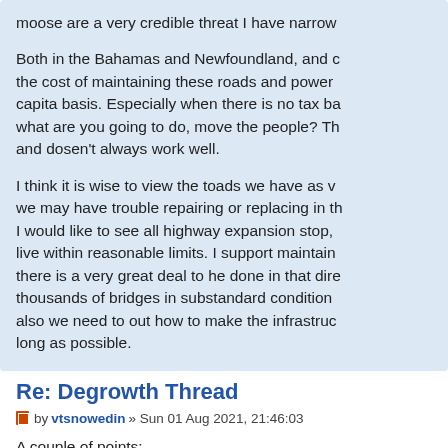moose are a very credible threat I have narrow
Both in the Bahamas and Newfoundland, and the cost of maintaining these roads and power capita basis. Especially when there is no tax ba what are you going to do, move the people? Th and dosen't always work well.
I think it is wise to view the toads we have as v we may have trouble repairing or replacing in th I would like to see all highway expansion stop, live within reasonable limits. I support maintain there is a very great deal to he done in that dire thousands of bridges in substandard condition also we need to out how to make the infrastruc long as possible.
Re: Degrowth Thread
by vtsnowedin » Sun 01 Aug 2021, 21:46:03
A couple of points: